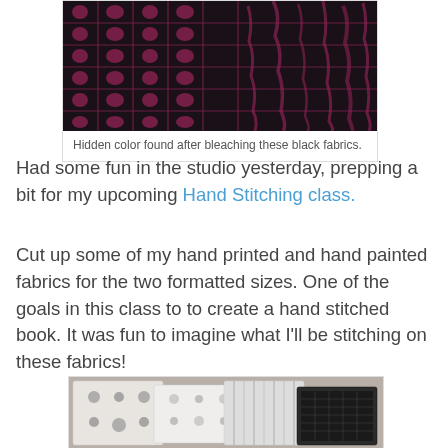[Figure (photo): Close-up photo of dark black fabric with hidden pink/red pattern revealed after bleaching, showing a grid-like pattern with oval shapes.]
Hidden color found after bleaching these black fabrics.
Had some fun in the studio yesterday, prepping a bit for my upcoming Hand Stitching class.
Cut up some of my hand printed and hand painted fabrics for the two formatted sizes. One of the goals in this class to to create a hand stitched book. It was fun to imagine what I'll be stitching on these fabrics!
[Figure (photo): Photo of cut fabric pieces in white, black, and patterned fabrics with dots and geometric patterns arranged on a surface.]